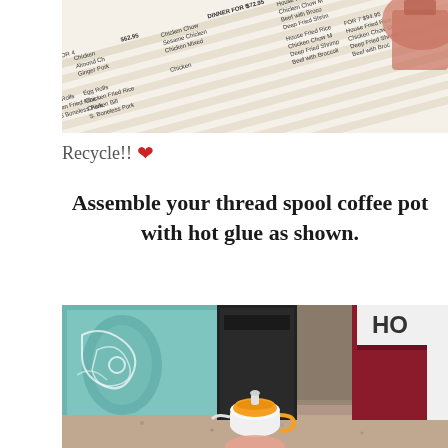[Figure (photo): Photo of a Chinese restaurant menu printed on paper, shown at an angle with text listing dinner-for items and prices like $62.95, $72.95, $94.95 with dishes such as Chicken Chow Mein, Sesame Chicken, Chicken Mixed, House Fried Rice, Beef with Broccoli, Deep Fried Shrimp]
Recycle!! ❤
Assemble your thread spool coffee pot with hot glue as shown.
[Figure (photo): Photo of a small handmade miniature coffee pot assembled from thread spools on a kitchen counter, with an orange lid and small handle, in front of a teal decorative mug, a black coffee machine, and a maroon/white container labeled HO]